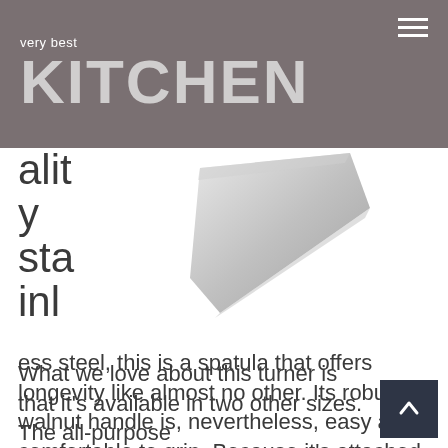very best KITCHEN
[Figure (photo): A metallic spatula blade shown at an angle against a white background]
ality stainless steel, this is a spatula that offers longevity like almost no other. Its robust walnut handle is, nevertheless, easy and comfortable to grip. Because it's attached to the tang with dual rivets, you can expect it to stay put.
What we love about this turner is that it's available in two other sizes. The all-purpose